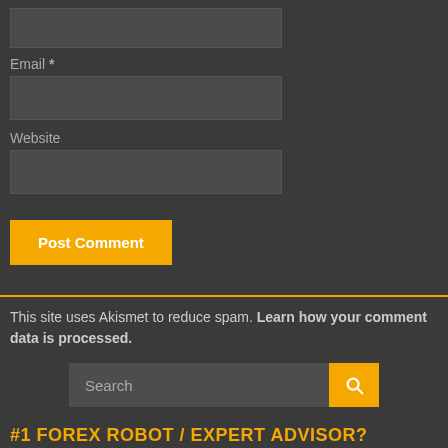[Figure (screenshot): Empty text input box for form field]
Email *
[Figure (screenshot): Empty text input box for email field]
Website
[Figure (screenshot): Empty text input box for website field]
[Figure (screenshot): Post Comment button in orange/yellow]
This site uses Akismet to reduce spam. Learn how your comment data is processed.
[Figure (screenshot): Search input field with yellow search button]
#1 FOREX ROBOT / EXPERT ADVISOR?
Which Robot or EA is currently best? Find out in our fully tested, Best Forex Robot / EA analytics page:
[Figure (screenshot): Pink/red bordered rectangle at bottom of page]